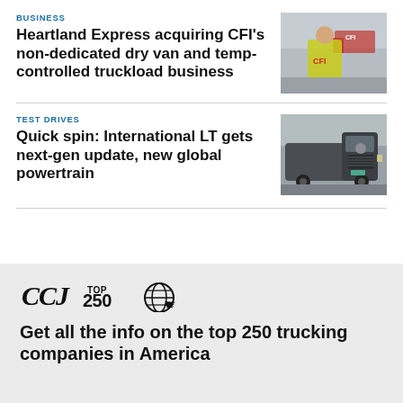BUSINESS
Heartland Express acquiring CFI's non-dedicated dry van and temp-controlled truckload business
[Figure (photo): Person in yellow CFI safety vest with red CFI truck in background]
TEST DRIVES
Quick spin: International LT gets next-gen update, new global powertrain
[Figure (photo): Dark gray International LT semi-truck front view]
[Figure (logo): CCJ Top 250 logo with globe icon]
Get all the info on the top 250 trucking companies in America